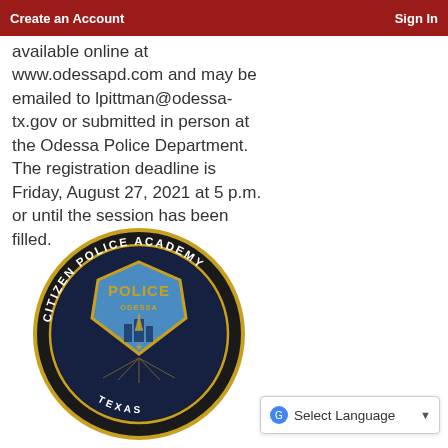Create an Account   Sign In
available online at www.odessapd.com and may be emailed to lpittman@odessa-tx.gov or submitted in person at the Odessa Police Department. The registration deadline is Friday, August 27, 2021 at 5 p.m. or until the session has been filled.
[Figure (logo): Citizen Police Academy circular badge/logo featuring Odessa Police Department shield in center on dark navy background with gold ring, text reads CITIZEN POLICE ACADEMY around the top and TEXAS at bottom]
Select Language